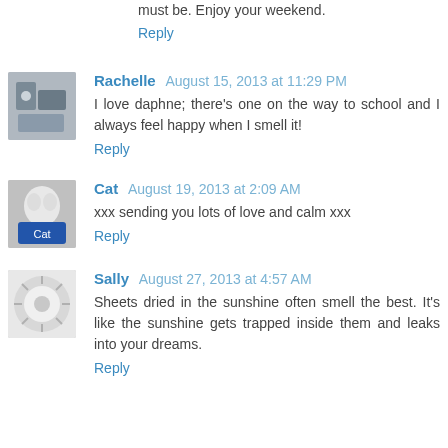must be. Enjoy your weekend.
Reply
Rachelle  August 15, 2013 at 11:29 PM
I love daphne; there's one on the way to school and I always feel happy when I smell it!
Reply
Cat  August 19, 2013 at 2:09 AM
xxx sending you lots of love and calm xxx
Reply
Sally  August 27, 2013 at 4:57 AM
Sheets dried in the sunshine often smell the best. It's like the sunshine gets trapped inside them and leaks into your dreams.
Reply